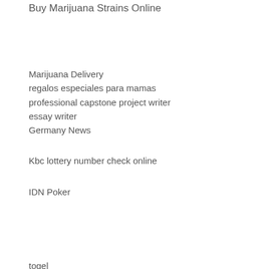Buy Marijuana Strains Online
Marijuana Delivery
regalos especiales para mamas
professional capstone project writer
essay writer
Germany News
Kbc lottery number check online
IDN Poker
togel